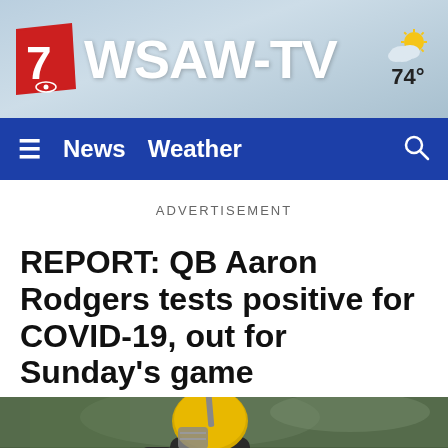WSAW-TV 74°
≡  News  Weather  🔍
ADVERTISEMENT
REPORT: QB Aaron Rodgers tests positive for COVID-19, out for Sunday's game
[Figure (photo): Football player in yellow Green Bay Packers helmet on field]